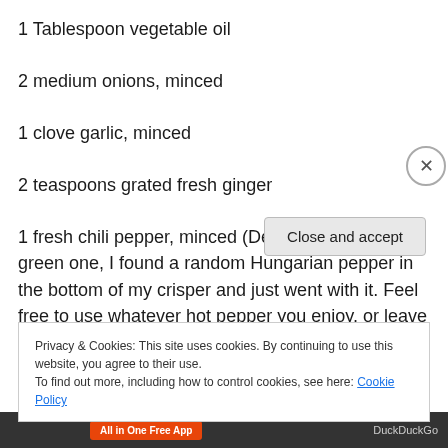1 Tablespoon vegetable oil
2 medium onions, minced
1 clove garlic, minced
2 teaspoons grated fresh ginger
1 fresh chili pepper, minced (Deb called for a hot green one, I found a random Hungarian pepper in the bottom of my crisper and just went with it. Feel free to use whatever hot pepper you enjoy, or leave it out if heat's not your
Privacy & Cookies: This site uses cookies. By continuing to use this website, you agree to their use.
To find out more, including how to control cookies, see here: Cookie Policy
Close and accept